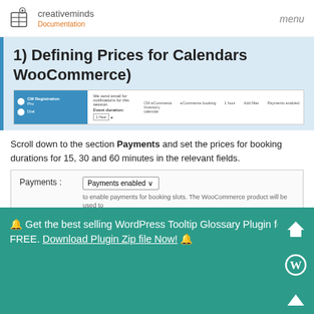creativeminds Documentation | menu
1) Defining Prices for Calendars WooCommerce)
[Figure (screenshot): Screenshot of a booking calendar admin interface showing CM Registration Pro fields and booking duration settings]
Scroll down to the section Payments and set the prices for booking durations for 15, 30 and 60 minutes in the relevant fields.
[Figure (screenshot): Screenshot of Payments section showing 'Payments enabled' dropdown and explanatory text about enabling payments for booking slots with WooCommerce product]
🔔 Get the best selling WordPress Tooltip Glossary Plugin for FREE. Download Plugin Zip file Now! 🔔